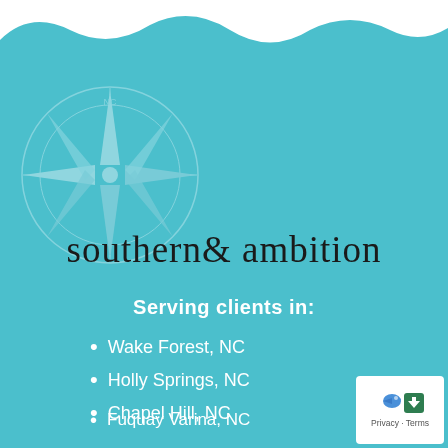[Figure (logo): Southern & Ambition brand logo with compass rose graphic on teal/turquoise background with wave pattern at top]
southern & ambition
Serving clients in:
Wake Forest, NC
Holly Springs, NC
Chapel Hill, NC
Fuquay Varina, NC